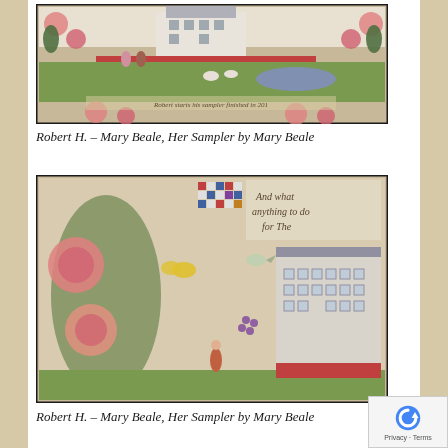[Figure (photo): Close-up photograph of a cross-stitch sampler showing a house with figures, trees with pink flowers/fruit, sheep, and a pond, surrounded by a floral border.]
Robert H. – Mary Beale, Her Sampler by Mary Beale
[Figure (photo): Close-up photograph of another section of a cross-stitch sampler showing large floral motifs, trees, a figure, a house, and partial text reading 'And what anything to do for The'.]
Robert H. – Mary Beale, Her Sampler by Mary Beale